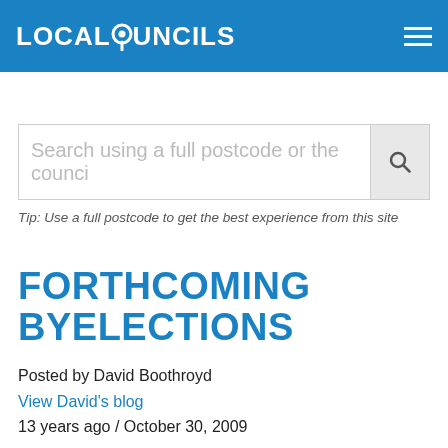LOCALCOUNCILS
Search using a full postcode or the council
Tip: Use a full postcode to get the best experience from this site
FORTHCOMING BYELECTIONS
Posted by David Boothroyd
View David's blog
13 years ago / October 30, 2009
Forthcoming byelections in principal local